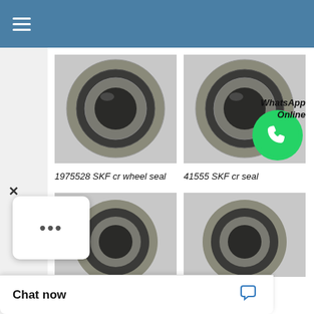Navigation menu bar
[Figure (photo): 1975528 SKF cr wheel seal - circular ring seal photographed from front, grey metallic color]
[Figure (photo): 41555 SKF cr seal - circular ring seal photographed from front, grey metallic color, with WhatsApp icon overlay]
1975528 SKF cr wheel seal
41555 SKF cr seal
WhatsApp Online
[Figure (photo): Partially visible circular ring seal - bottom left product image]
[Figure (photo): Partially visible circular ring seal - bottom right product image]
Chat now